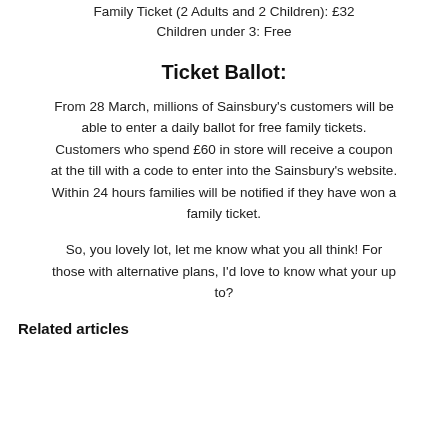Family Ticket (2 Adults and 2 Children): £32
Children under 3: Free
Ticket Ballot:
From 28 March, millions of Sainsbury's customers will be able to enter a daily ballot for free family tickets. Customers who spend £60 in store will receive a coupon at the till with a code to enter into the Sainsbury's website. Within 24 hours families will be notified if they have won a family ticket.
So, you lovely lot, let me know what you all think! For those with alternative plans, I'd love to know what your up to?
Related articles